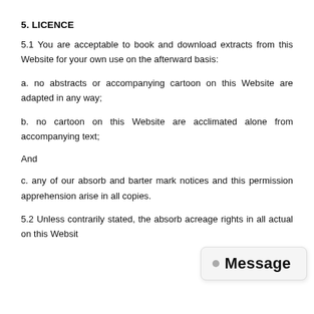5. LICENCE
5.1 You are acceptable to book and download extracts from this Website for your own use on the afterward basis:
a. no abstracts or accompanying cartoon on this Website are adapted in any way;
b. no cartoon on this Website are acclimated alone from accompanying text;
And
c. any of our absorb and barter mark notices and this permission apprehension arise in all copies.
5.2 Unless contrarily stated, the absorb acreage rights in all actual on this Websit